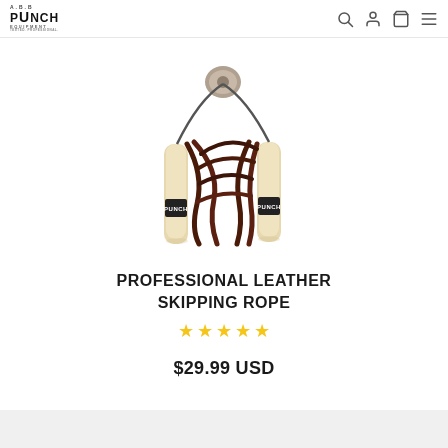PUNCH EQUIPMENT — navigation bar with logo, search, account, cart, and menu icons
[Figure (photo): Product photo of a Professional Leather Skipping Rope with wooden handles branded PUNCH, showing dark brown leather rope coiled with two light wood handles]
PROFESSIONAL LEATHER SKIPPING ROPE
★★★★★ (5 stars)
$29.99 USD